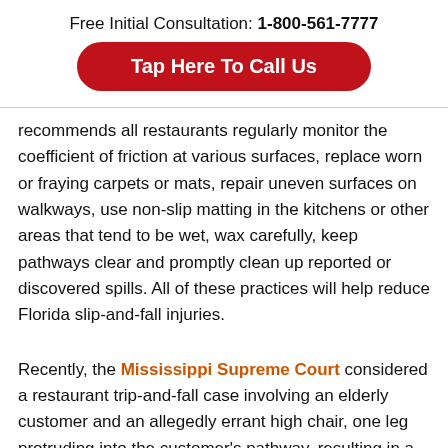Free Initial Consultation: 1-800-561-7777
Tap Here To Call Us
recommends all restaurants regularly monitor the coefficient of friction at various surfaces, replace worn or fraying carpets or mats, repair uneven surfaces on walkways, use non-slip matting in the kitchens or other areas that tend to be wet, wax carefully, keep pathways clear and promptly clean up reported or discovered spills. All of these practices will help reduce Florida slip-and-fall injuries.
Recently, the Mississippi Supreme Court considered a restaurant trip-and-fall case involving an elderly customer and an allegedly errant high chair, one leg protruding into the customer's pathway, resulting in a fall that caused